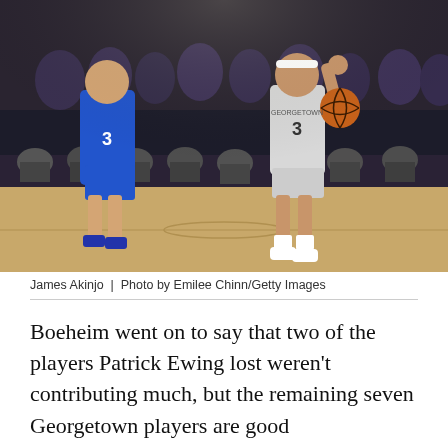[Figure (photo): Basketball game photo showing two players, one in blue uniform (number 3) and one in white/gray Georgetown uniform (number 3) holding a basketball and celebrating, with spectators seated courtside in the background.]
James Akinjo  |  Photo by Emilee Chinn/Getty Images
Boeheim went on to say that two of the players Patrick Ewing lost weren't contributing much, but the remaining seven Georgetown players are good